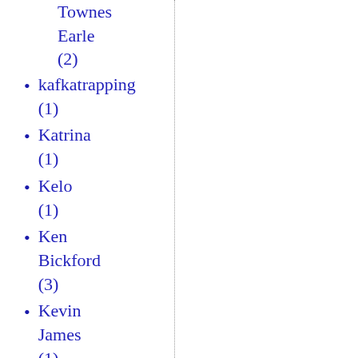Townes Earle (2)
kafkatrapping (1)
Katrina (1)
Kelo (1)
Ken Bickford (3)
Kevin James (1)
Keynes (1)
Keynesian economics (1)
Keynesianism (3)
Khmer Rouge (1)